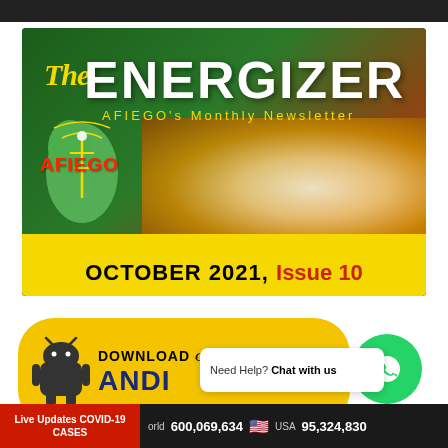[Figure (illustration): The Energizer - AFIEGO's Monthly Newsletter banner. Dark green background with hand/glow graphic, 'The ENERGIZER' title, AFIEGO logo with Africa map, and yellow bottom strip reading 'OCTOBER 2021, Issue 10']
[Figure (illustration): Download our radio Android app strip with Android robot icon and partial text 'DOWNLOAD OUR RADIO ANDI...' on a yellow rounded rectangle background]
[Figure (other): WhatsApp green circle button with phone/WhatsApp icon]
Need Help? Chat with us
Live Updates COVID-19 CASES   World 600,069,634   USA 95,324,830